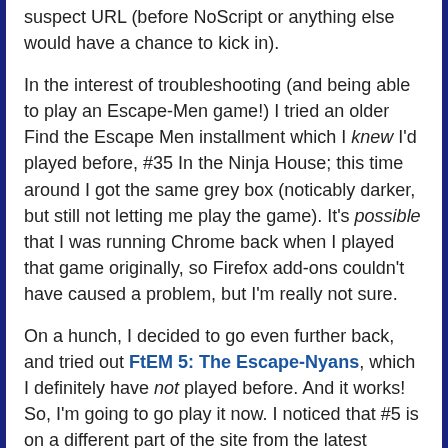suspect URL (before NoScript or anything else would have a chance to kick in).
In the interest of troubleshooting (and being able to play an Escape-Men game!) I tried an older Find the Escape Men installment which I knew I'd played before, #35 In the Ninja House; this time around I got the same grey box (noticably darker, but still not letting me play the game). It's possible that I was running Chrome back when I played that game originally, so Firefox add-ons couldn't have caused a problem, but I'm really not sure.
On a hunch, I decided to go even further back, and tried out FtEM 5: The Escape-Nyans, which I definitely have not played before. And it works! So, I'm going to go play it now. I noticed that #5 is on a different part of the site from the latest Escape Men games; I have no idea whether that's germane to the difficulties I'm having with games in the dedicated Escape-Men area of the no1game site, but I'll see if I